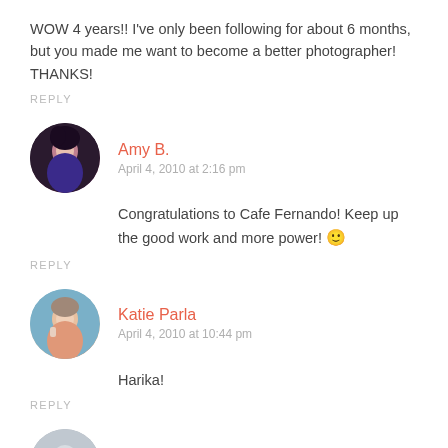WOW 4 years!! I've only been following for about 6 months, but you made me want to become a better photographer! THANKS!
REPLY
Amy B.
April 4, 2010 at 2:16 pm
Congratulations to Cafe Fernando! Keep up the good work and more power! 🙂
REPLY
Katie Parla
April 4, 2010 at 10:44 pm
Harika!
REPLY
Burcu Gokce